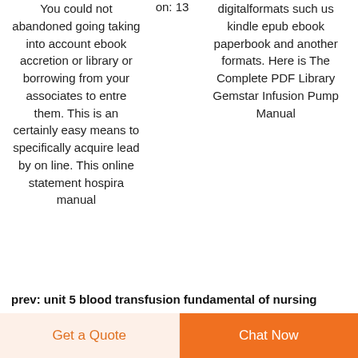You could not abandoned going taking into account ebook accretion or library or borrowing from your associates to entre them. This is an certainly easy means to specifically acquire lead by on line. This online statement hospira manual
on: 13
digitalformats such us kindle epub ebook paperbook and another formats. Here is The Complete PDF Library Gemstar Infusion Pump Manual
prev: unit 5 blood transfusion fundamental of nursing
Get a Quote
Chat Now